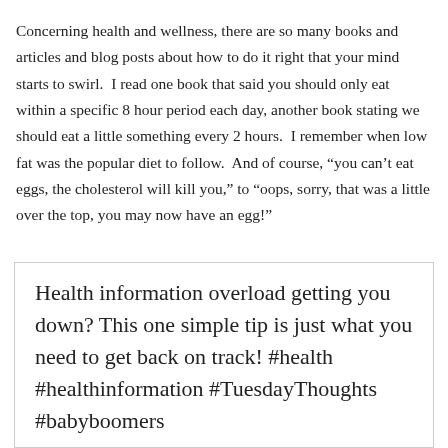Concerning health and wellness, there are so many books and articles and blog posts about how to do it right that your mind starts to swirl.  I read one book that said you should only eat within a specific 8 hour period each day, another book stating we should eat a little something every 2 hours.  I remember when low fat was the popular diet to follow.  And of course, “you can’t eat eggs, the cholesterol will kill you,” to “oops, sorry, that was a little over the top, you may now have an egg!”
Health information overload getting you down? This one simple tip is just what you need to get back on track! #health #healthinformation #TuesdayThoughts #babyboomers